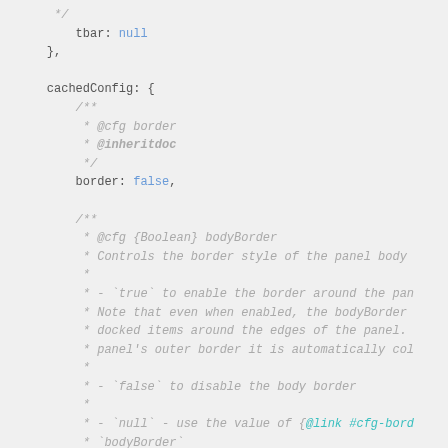Code snippet showing JavaScript configuration object with cachedConfig, border and bodyBorder JSDoc comments